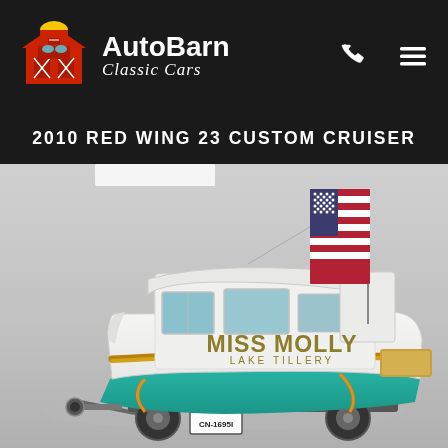AutoBarn Classic Cars
2010 RED WING 23 CUSTOM CRUISER
[Figure (photo): A white fiberglass boat named 'Miss Molly, Lake Tillery' with a teal/turquoise hull bottom, wooden trim accents, a cabin with windows, flying an American flag from the stern, sitting on a trailer with a license plate reading CN-1695I. The photo is taken in what appears to be a clean white studio/showroom setting with overhead lighting.]